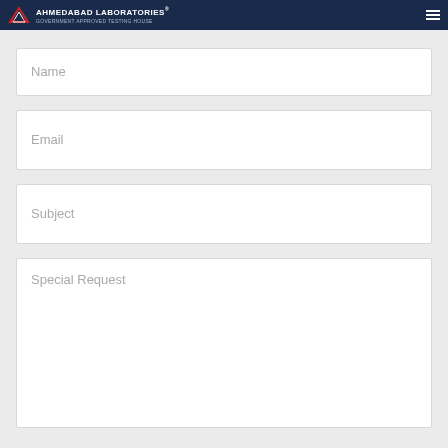AHMEDABAD LABORATORIES® GOVERNMENT APPROVED TESTING HOUSE
Name
Email
Subject
Special Request